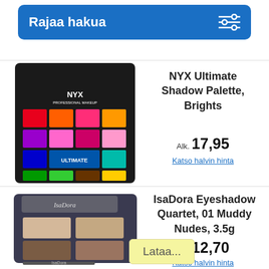Rajaa hakua
[Figure (photo): NYX Ultimate Shadow Palette Brights - colorful eyeshadow palette with 16 bright colored pans in a black case]
NYX Ultimate Shadow Palette, Brights
Alk. 17,95
Katso halvin hinta
[Figure (photo): IsaDora Eyeshadow Quartet in 01 Muddy Nudes 3.5g - nude eyeshadow palette with 4 pans in dark grey case with applicator brush]
IsaDora Eyeshadow Quartet, 01 Muddy Nudes, 3.5g
Alk. 12,70
Katso halvin hinta
Lataa...